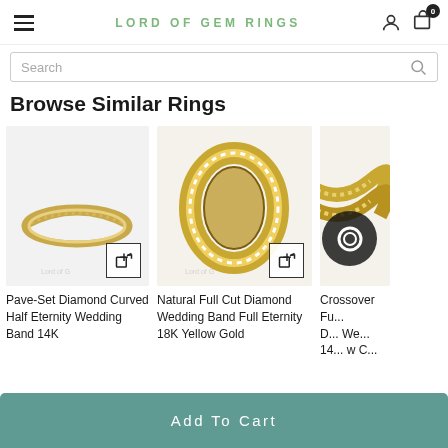LORD OF GEM RINGS
Search
Browse Similar Rings
[Figure (photo): Pave-Set Diamond Curved Half Eternity Wedding Band 14K ring on white background with quick-add icon]
[Figure (photo): Natural Full Cut Diamond Wedding Band Full Eternity 18K Yellow Gold ring on light background with quick-add icon]
[Figure (photo): Crossover Full Cut Diamond ring partially visible, cropped at right edge]
Pave-Set Diamond Curved Half Eternity Wedding Band 14K
Natural Full Cut Diamond Wedding Band Full Eternity 18K Yellow Gold
Crossover Fu... D... We... 14... w C...
Add To Cart